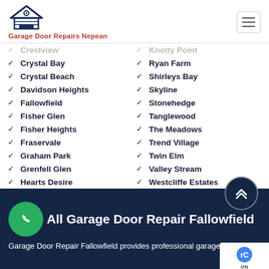Garage Door Repairs Nepean
Crystal Bay
Crystal Beach
Davidson Heights
Fallowfield
Fisher Glen
Fisher Heights
Fraservale
Graham Park
Grenfell Glen
Hearts Desire
Ryan Farm
Shirleys Bay
Skyline
Stonehedge
Tanglewood
The Meadows
Trend Village
Twin Elm
Valley Stream
Westcliffe Estates
All Garage Door Repair Fallowfield
Garage Door Repair Fallowfield provides professional garage